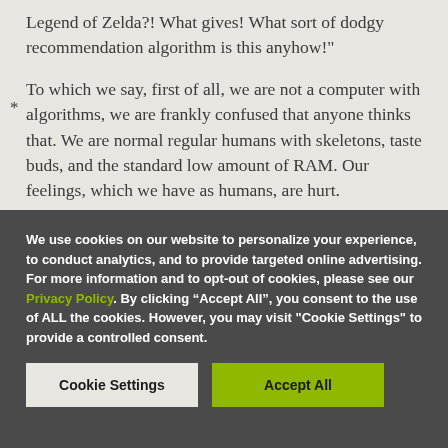Legend of Zelda?! What gives! What sort of dodgy recommendation algorithm is this anyhow!"
To which we say, first of all, we are not a computer with algorithms, we are frankly confused that anyone thinks that. We are normal regular humans with skeletons, taste buds, and the standard low amount of RAM. Our feelings, which we have as humans, are hurt.
We use cookies on our website to personalize your experience, to conduct analytics, and to provide targeted online advertising. For more information and to opt-out of cookies, please see our Privacy Policy. By clicking “Accept All”, you consent to the use of ALL the cookies. However, you may visit "Cookie Settings" to provide a controlled consent.
Cookie Settings | Accept All